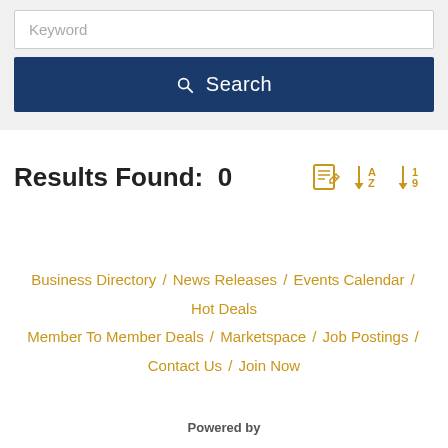Keyword
Search
Results Found:  0
Business Directory / News Releases / Events Calendar / Hot Deals / Member To Member Deals / Marketspace / Job Postings / Contact Us / Join Now
Powered by